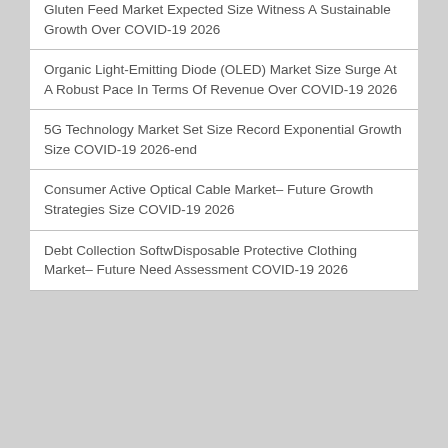Gluten Feed Market Expected Size Witness A Sustainable Growth Over COVID-19 2026
Organic Light-Emitting Diode (OLED) Market Size Surge At A Robust Pace In Terms Of Revenue Over COVID-19 2026
5G Technology Market Set Size Record Exponential Growth Size COVID-19 2026-end
Consumer Active Optical Cable Market– Future Growth Strategies Size COVID-19 2026
Debt Collection SoftwDisposable Protective Clothing Market– Future Need Assessment COVID-19 2026